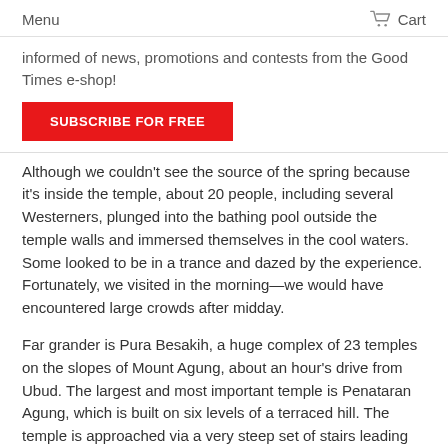Menu   Cart
informed of news, promotions and contests from the Good Times e-shop!
SUBSCRIBE FOR FREE
Although we couldn't see the source of the spring because it's inside the temple, about 20 people, including several Westerners, plunged into the bathing pool outside the temple walls and immersed themselves in the cool waters. Some looked to be in a trance and dazed by the experience. Fortunately, we visited in the morning—we would have encountered large crowds after midday.
Far grander is Pura Besakih, a huge complex of 23 temples on the slopes of Mount Agung, about an hour's drive from Ubud. The largest and most important temple is Penataran Agung, which is built on six levels of a terraced hill. The temple is approached via a very steep set of stairs leading